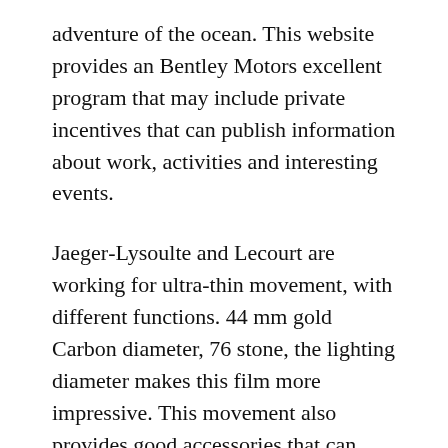adventure of the ocean. This website provides an Bentley Motors excellent program that may include private incentives that can publish information about work, activities and interesting events.
Jaeger-Lysoulte and Lecourt are working for ultra-thin movement, with different functions. 44 mm gold Carbon diameter, 76 stone, the lighting diameter makes this film more impressive. This movement also provides good accessories that can perform productivity.
The latest high-tech ceramic is black and white, elegant carpet.Last Chronomat 41 year, Omega was chosen as a professional